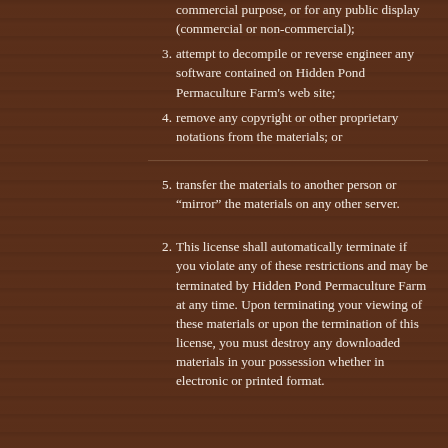commercial purpose, or for any public display (commercial or non-commercial);
3. attempt to decompile or reverse engineer any software contained on Hidden Pond Permaculture Farm’s web site;
4. remove any copyright or other proprietary notations from the materials; or
5. transfer the materials to another person or “mirror” the materials on any other server.
2. This license shall automatically terminate if you violate any of these restrictions and may be terminated by Hidden Pond Permaculture Farm at any time. Upon terminating your viewing of these materials or upon the termination of this license, you must destroy any downloaded materials in your possession whether in electronic or printed format.